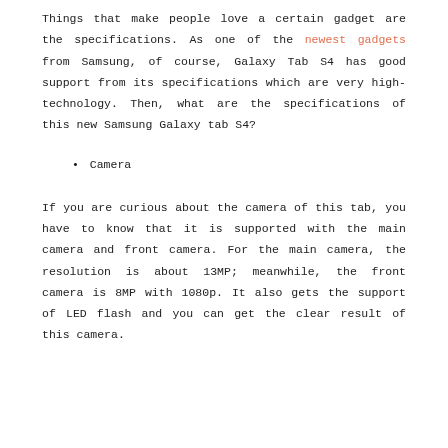Things that make people love a certain gadget are the specifications. As one of the newest gadgets from Samsung, of course, Galaxy Tab S4 has good support from its specifications which are very high-technology. Then, what are the specifications of this new Samsung Galaxy tab S4?
Camera
If you are curious about the camera of this tab, you have to know that it is supported with the main camera and front camera. For the main camera, the resolution is about 13MP; meanwhile, the front camera is 8MP with 1080p. It also gets the support of LED flash and you can get the clear result of this camera.